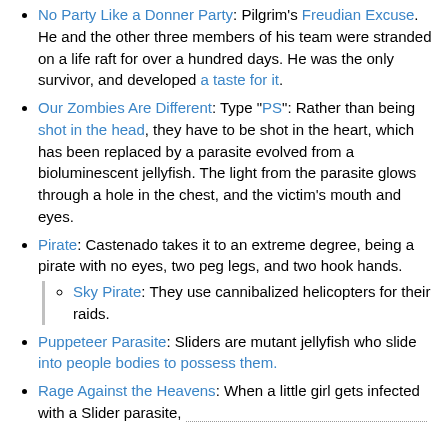No Party Like a Donner Party: Pilgrim's Freudian Excuse. He and the other three members of his team were stranded on a life raft for over a hundred days. He was the only survivor, and developed a taste for it.
Our Zombies Are Different: Type "PS": Rather than being shot in the head, they have to be shot in the heart, which has been replaced by a parasite evolved from a bioluminescent jellyfish. The light from the parasite glows through a hole in the chest, and the victim's mouth and eyes.
Pirate: Castenado takes it to an extreme degree, being a pirate with no eyes, two peg legs, and two hook hands.
Sky Pirate: They use cannibalized helicopters for their raids.
Puppeteer Parasite: Sliders are mutant jellyfish who slide into people bodies to possess them.
Rage Against the Heavens: When a little girl gets infected with a Slider parasite,